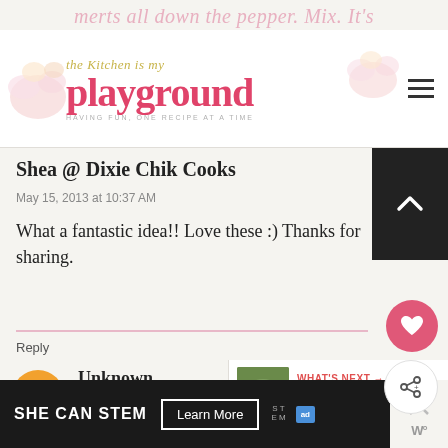The Kitchen is My Playground — HAVING FUN, ONE RECIPE AT A TIME
merts all down the pepper. Mix. It's
Shea @ Dixie Chik Cooks
May 15, 2013 at 10:37 AM
What a fantastic idea!! Love these :) Thanks for sharing.
Reply
Unknown
May 15, 2013 at 11:52 AM
WHAT'S NEXT → Pork Tenderloin &...
[Figure (screenshot): Ad banner: SHE CAN STEM with Learn More button, STEM logo, and ad badge]